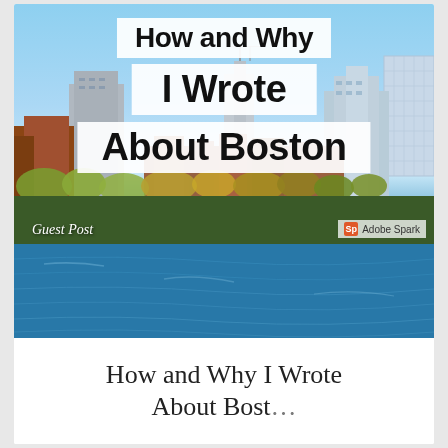[Figure (photo): Photo of the Boston skyline viewed across the Charles River on a clear autumn day. Tall modern skyscrapers and brownstone buildings visible with trees showing fall foliage. Blue sky and blue water fill the frame. Title text overlays read 'How and Why', 'I Wrote', and 'About Boston' in bold black on white semi-transparent boxes. Bottom-left corner shows 'Guest Post' in white italic text. Bottom-right shows Adobe Spark logo badge.]
How and Why I Wrote About Boston